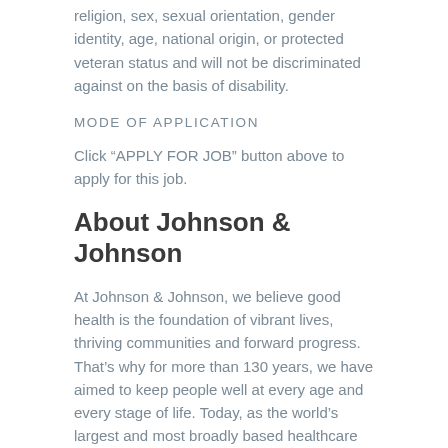religion, sex, sexual orientation, gender identity, age, national origin, or protected veteran status and will not be discriminated against on the basis of disability.
MODE OF APPLICATION
Click “APPLY FOR JOB” button above to apply for this job.
About Johnson & Johnson
At Johnson & Johnson, we believe good health is the foundation of vibrant lives, thriving communities and forward progress. That’s why for more than 130 years, we have aimed to keep people well at every age and every stage of life. Today, as the world’s largest and most broadly based healthcare company, we are committed to